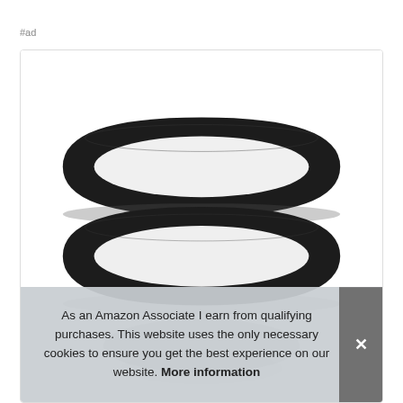#ad
[Figure (photo): Two black silicone wristbands/bracelets stacked on top of each other, photographed on a white background. The bands are plain black rubber with no text or markings.]
As an Amazon Associate I earn from qualifying purchases. This website uses the only necessary cookies to ensure you get the best experience on our website. More information